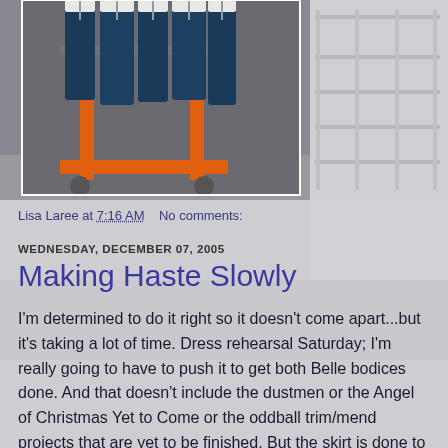[Figure (photo): Photo of costumes/dresses on an orange rolling rack in a sewing room, with blurred white shelving unit visible in the background right]
Lisa Laree at 7:16 AM    No comments:
WEDNESDAY, DECEMBER 07, 2005
Making Haste Slowly
I'm determined to do it right so it doesn't come apart...but it's taking a lot of time. Dress rehearsal Saturday; I'm really going to have to push it to get both Belle bodices done. And that doesn't include the dustmen or the Angel of Christmas Yet to Come or the oddball trim/mend projects that are yet to be finished. But the skirt is done to the waistband and a wee bit of trim. It's gorgeous and it weighs a ton. Well, maybe not a ton...but I'm guessing it's a good 8 pounds!